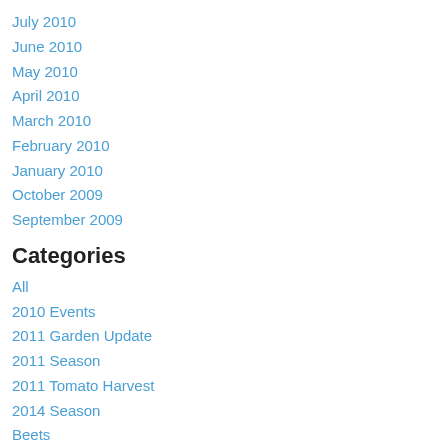July 2010
June 2010
May 2010
April 2010
March 2010
February 2010
January 2010
October 2009
September 2009
Categories
All
2010 Events
2011 Garden Update
2011 Season
2011 Tomato Harvest
2014 Season
Beets
Black Cherry
Bleaching
Caging